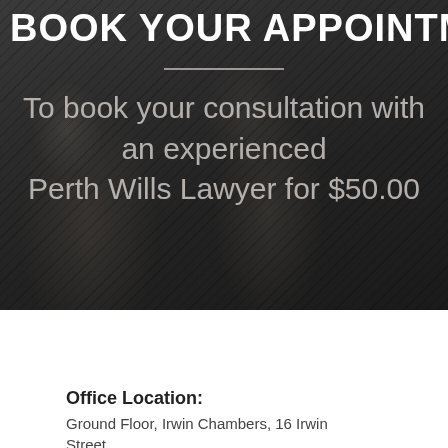BOOK YOUR APPOINTMENT
To book your consultation with an experienced Perth Wills Lawyer for $50.00
[Figure (photo): Dark background with blurred figures of two people, overlaid with diagonal hatching pattern. Law firm consultation promotional banner.]
Office Location:
Ground Floor, Irwin Chambers, 16 Irwin Street